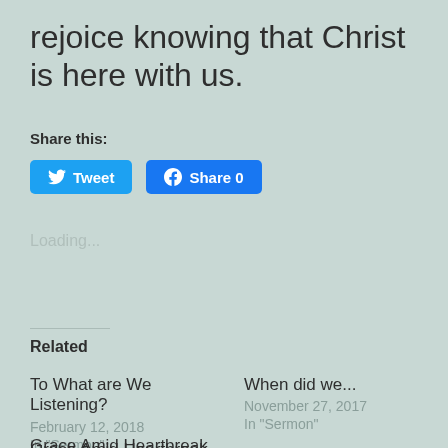rejoice knowing that Christ is here with us.
Share this:
[Figure (other): Tweet button (Twitter) and Share 0 button (Facebook)]
Loading...
Related
To What are We Listening?
February 12, 2018
In "Sermon"
When did we...
November 27, 2017
In "Sermon"
Grace Amid Heartbreak
August 6, 2017
In "Sermon"